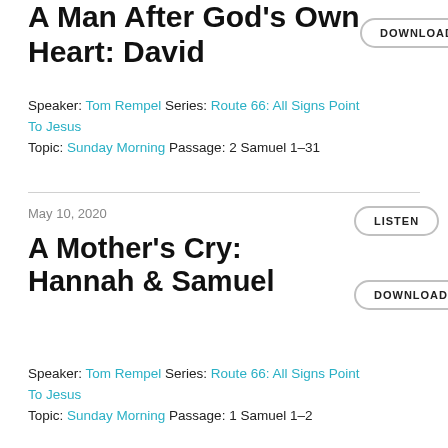A Man After God's Own Heart: David
Speaker: Tom Rempel Series: Route 66: All Signs Point To Jesus Topic: Sunday Morning Passage: 2 Samuel 1-31
May 10, 2020
A Mother's Cry: Hannah & Samuel
Speaker: Tom Rempel Series: Route 66: All Signs Point To Jesus Topic: Sunday Morning Passage: 1 Samuel 1-2